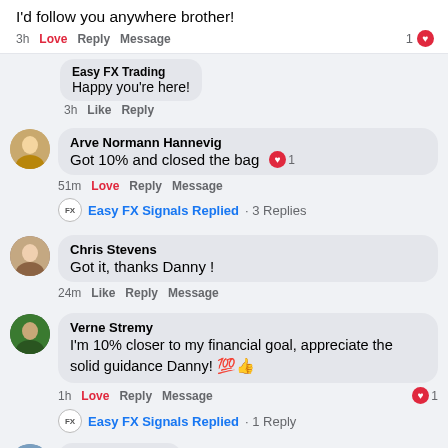I'd follow you anywhere brother!
3h  Love  Reply  Message  1❤
Easy FX Trading
Happy you're here!
3h  Like  Reply
Arve Normann Hannevig
Got 10% and closed the bag ❤1
51m  Love  Reply  Message
Easy FX Signals Replied · 3 Replies
Chris Stevens
Got it, thanks Danny !
24m  Like  Reply  Message
Verne Stremy
I'm 10% closer to my financial goal, appreciate the solid guidance Danny! 💯👍
1h  Love  Reply  Message  ❤1
Easy FX Signals Replied · 1 Reply
Pete Hodgins